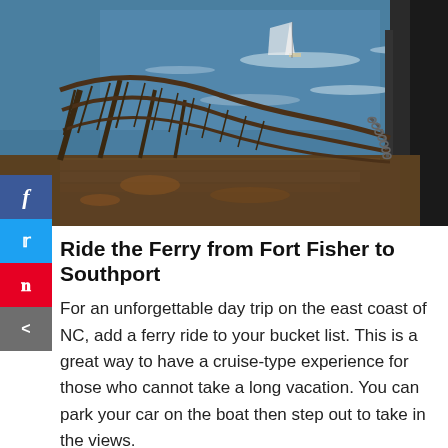[Figure (photo): View from the deck of a ferry showing a metal rope/net railing on the left side, open ocean water in the background, and a sailboat visible in the distance. The deck surface shows rust and wear patterns.]
Ride the Ferry from Fort Fisher to Southport
For an unforgettable day trip on the east coast of NC, add a ferry ride to your bucket list. This is a great way to have a cruise-type experience for those who cannot take a long vacation. You can park your car on the boat then step out to take in the views.